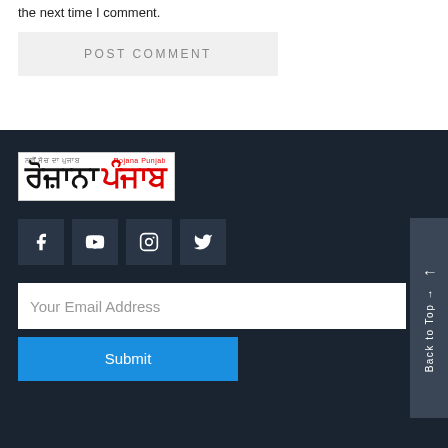the next time I comment.
POST COMMENT
[Figure (logo): Rojana Punjab newspaper logo with Punjabi script text in black and red on white background]
[Figure (infographic): Social media icons: Facebook, YouTube, Instagram, Twitter on dark background squares]
Your Email Address
Submit
Back to Top →